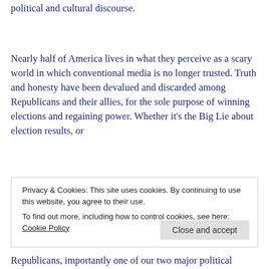political and cultural discourse.
Nearly half of America lives in what they perceive as a scary world in which conventional media is no longer trusted. Truth and honesty have been devalued and discarded among Republicans and their allies, for the sole purpose of winning elections and regaining power. Whether it's the Big Lie about election results, or
Privacy & Cookies: This site uses cookies. By continuing to use this website, you agree to their use. To find out more, including how to control cookies, see here: Cookie Policy
Republicans, importantly one of our two major political